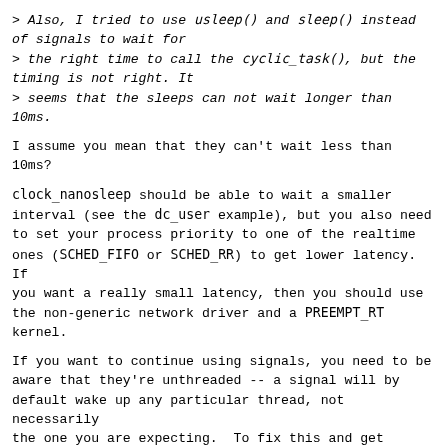> Also, I tried to use usleep() and sleep() instead of signals to wait for
> the right time to call the cyclic_task(), but the timing is not right. It
> seems that the sleeps can not wait longer than 10ms.
I assume you mean that they can't wait less than 10ms?
clock_nanosleep should be able to wait a smaller interval (see the dc_user example), but you also need to set your process priority to one of the realtime ones (SCHED_FIFO or SCHED_RR) to get lower latency.  If you want a really small latency, then you should use the non-generic network driver and a PREEMPT_RT kernel.
If you want to continue using signals, you need to be aware that they're unthreaded -- a signal will by default wake up any particular thread, not necessarily the one you are expecting.  To fix this and get signals to work in multithreaded programs, you need to make sure that you explicitly block the signal in all threads except the one that you're expecting to receive it.  Or alternatively use a more modern timer API that's better suited to multithreaded applications.  I suspect that overall signals or timers will produce worse performance than using a sleep, however.
Also, you don't show what the implementation of your pause function is, but it's likely that unless you're taking care to use atomic variables or insert the